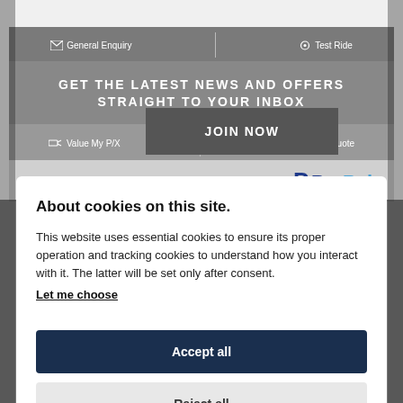GET THE LATEST NEWS AND OFFERS STRAIGHT TO YOUR INBOX
General Enquiry | Test Ride | Value My P/X | Finance Quote
JOIN NOW
Reserve for £99
[Figure (logo): PayPal logo]
About cookies on this site.
This website uses essential cookies to ensure its proper operation and tracking cookies to understand how you interact with it. The latter will be set only after consent.
Let me choose
Accept all
Reject all